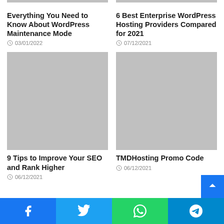[Figure (photo): Gray placeholder image top left]
Everything You Need to Know About WordPress Maintenance Mode
03/01/2022
[Figure (photo): Gray placeholder image top right]
6 Best Enterprise WordPress Hosting Providers Compared for 2021
07/12/2021
[Figure (photo): Gray placeholder image bottom left]
9 Tips to Improve Your SEO and Rank Higher
06/12/2021
[Figure (photo): Gray placeholder image bottom right]
TMDHosting Promo Code
06/12/2021
Facebook | Twitter | WhatsApp | Telegram